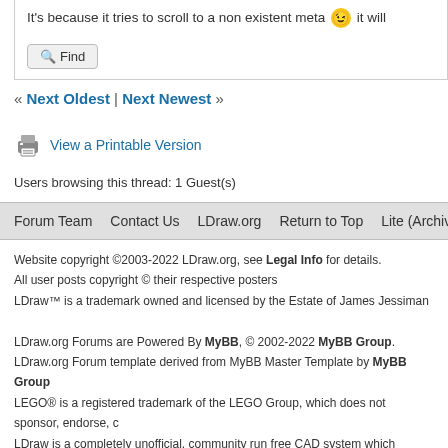It's because it tries to scroll to a non existent meta 😉 it will
Find
« Next Oldest | Next Newest »
View a Printable Version
Users browsing this thread: 1 Guest(s)
Forum Team   Contact Us   LDraw.org   Return to Top   Lite (Archive) Mode   R
Website copyright ©2003-2022 LDraw.org, see Legal Info for details.
All user posts copyright © their respective posters
LDraw™ is a trademark owned and licensed by the Estate of James Jessiman

LDraw.org Forums are Powered By MyBB, © 2002-2022 MyBB Group.
LDraw.org Forum template derived from MyBB Master Template by MyBB Group
LEGO® is a registered trademark of the LEGO Group, which does not sponsor, endorse, c
LDraw is a completely unofficial, community run free CAD system which represents official